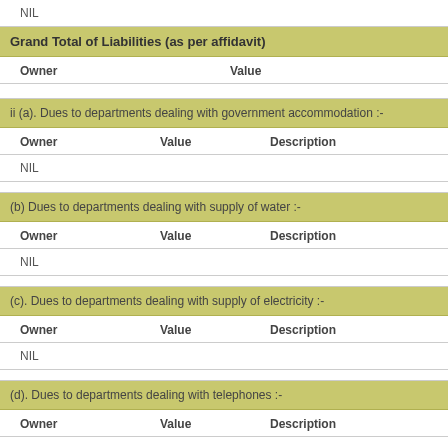NIL
Grand Total of Liabilities (as per affidavit)
| Owner | Value |
| --- | --- |
ii (a). Dues to departments dealing with government accommodation :-
| Owner | Value | Description |
| --- | --- | --- |
| NIL |  |  |
(b) Dues to departments dealing with supply of water :-
| Owner | Value | Description |
| --- | --- | --- |
| NIL |  |  |
(c). Dues to departments dealing with supply of electricity :-
| Owner | Value | Description |
| --- | --- | --- |
| NIL |  |  |
(d). Dues to departments dealing with telephones :-
| Owner | Value | Description |
| --- | --- | --- |